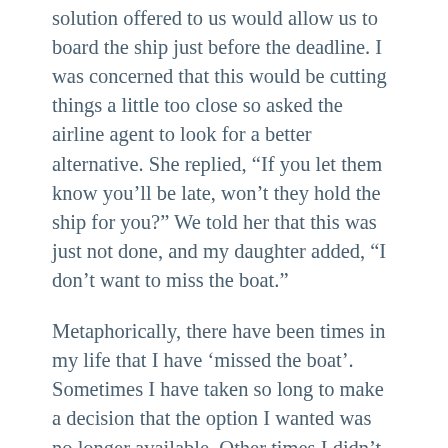solution offered to us would allow us to board the ship just before the deadline. I was concerned that this would be cutting things a little too close so asked the airline agent to look for a better alternative. She replied, “If you let them know you’ll be late, won’t they hold the ship for you?” We told her that this was just not done, and my daughter added, “I don’t want to miss the boat.”
Metaphorically, there have been times in my life that I have ‘missed the boat’. Sometimes I have taken so long to make a decision that the option I wanted was no longer available. Other times I didn’t believe in myself enough to go for the opportunity that was presented.
What I have learned is that I need to embrace each new day. The challenges and opportunities